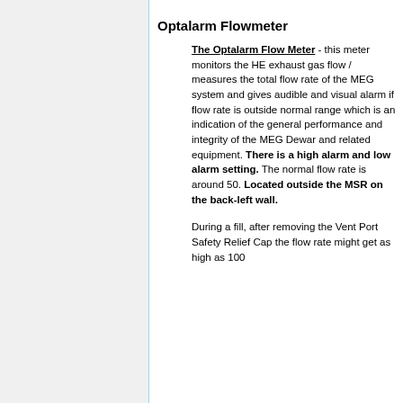Optalarm Flowmeter
The Optalarm Flow Meter - this meter monitors the HE exhaust gas flow / measures the total flow rate of the MEG system and gives audible and visual alarm if flow rate is outside normal range which is an indication of the general performance and integrity of the MEG Dewar and related equipment. There is a high alarm and low alarm setting. The normal flow rate is around 50. Located outside the MSR on the back-left wall.
During a fill, after removing the Vent Port Safety Relief Cap the flow rate might get as high as 100